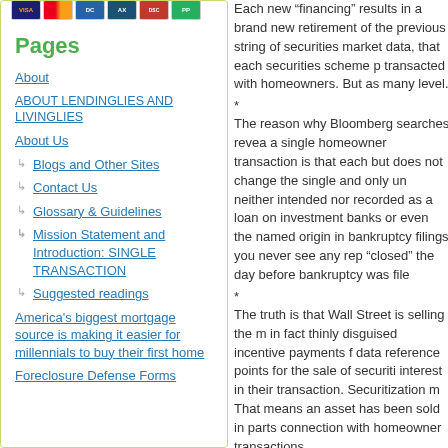[Figure (other): Payment method icons: Visa, Mastercard, and other credit card logos]
Pages
About
ABOUT LENDINGLIES AND LIVINGLIES
About Us
Blogs and Other Sites
Contact Us
Glossary & Guidelines
Mission Statement and Introduction: SINGLE TRANSACTION
Suggested readings
America's biggest mortgage source is making it easier for millennials to buy their first home
Foreclosure Defense Forms
Each new “financing” results in a brand new retirement of the previous string of securities market data, that each securities scheme p transacted with homeowners. But as many level.
The reason why Bloomberg searches revea a single homeowner transaction is that each but does not change the single and only un neither intended nor recorded as a loan on investment banks or even the named origin in bankruptcy filings you never see any rep “closed” the day before bankruptcy was file
The truth is that Wall Street is selling the m in fact thinly disguised incentive payments f data reference points for the sale of securiti interest in their transaction. Securitization m That means an asset has been sold in parts connection with homeowner transactions.
Securitization is a lie. And so far nearly eve lie. Small wonder that the courts also belie the truth of the lie.